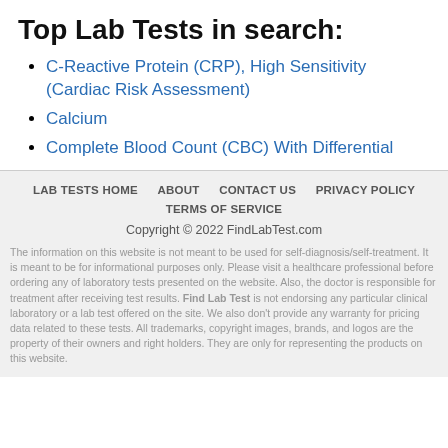Top Lab Tests in search:
C-Reactive Protein (CRP), High Sensitivity (Cardiac Risk Assessment)
Calcium
Complete Blood Count (CBC) With Differential
LAB TESTS HOME   ABOUT   CONTACT US   PRIVACY POLICY   TERMS OF SERVICE
Copyright © 2022 FindLabTest.com
The information on this website is not meant to be used for self-diagnosis/self-treatment. It is meant to be for informational purposes only. Please visit a healthcare professional before ordering any of laboratory tests presented on the website. Also, the doctor is responsible for treatment after receiving test results. Find Lab Test is not endorsing any particular clinical laboratory or a lab test offered on the site. We also don't provide any warranty for pricing data related to these tests. All trademarks, copyright images, brands, and logos are the property of their owners and right holders. They are only for representing the products on this website.